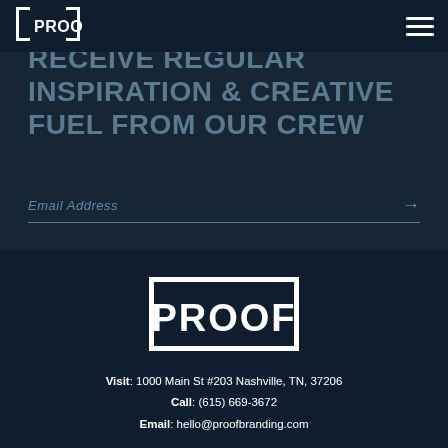[Figure (logo): PROOF branding logo top-left, white on dark background, rectangular frame]
[Figure (other): Hamburger menu icon, three white horizontal lines, top-right]
RECEIVE REGULAR INSPIRATION & CREATIVE FUEL FROM OUR CREW
Email Address →
[Figure (logo): PROOF branding logo large centered, white on dark navy background]
Visit: 1000 Main St #203 Nashville, TN, 37206
Call: (615) 669-3672
Email: hello@proofbranding.com